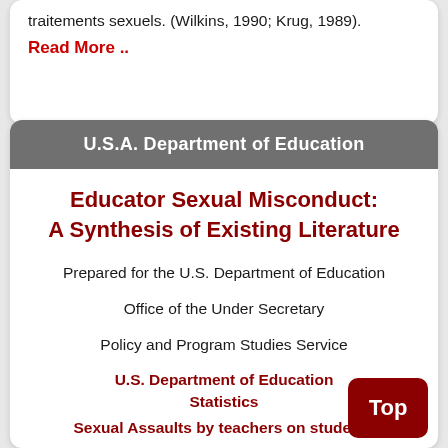traitements sexuels. (Wilkins, 1990; Krug, 1989).
Read More ..
U.S.A. Department of Education
Educator Sexual Misconduct: A Synthesis of Existing Literature
Prepared for the U.S. Department of Education
Office of the Under Secretary
Policy and Program Studies Service
U.S. Department of Education Statistics
Sexual Assaults by teachers on students